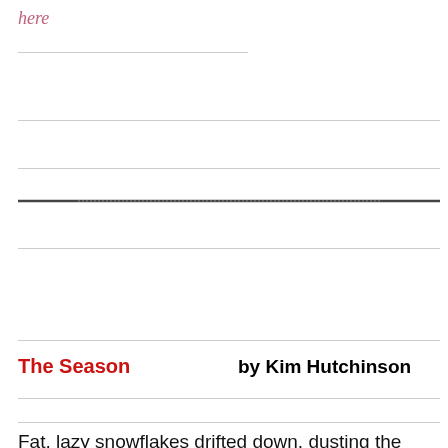here
The Season    by Kim Hutchinson
Fat, lazy snowflakes drifted down, dusting the street like icing sugar. One store window projected a warm glow onto the street. Over the window, the sign read Joffrey Russ, Fur De